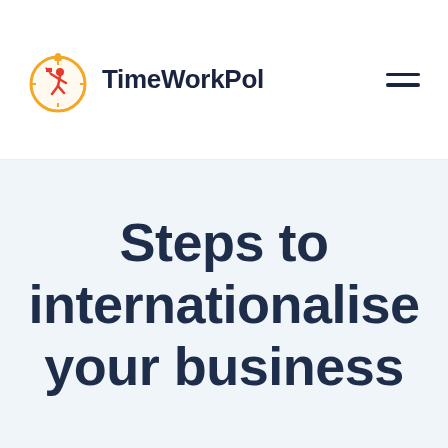TimeWorkPol
Steps to internationalise your business